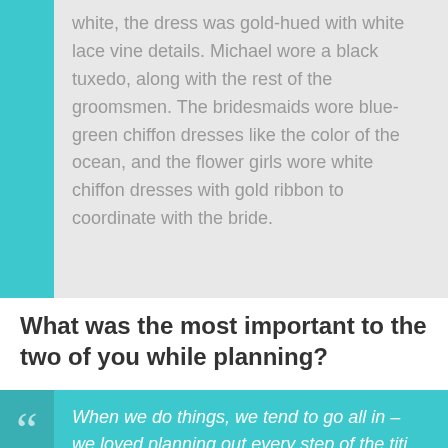white, the dress was gold-hued with white lace vine details. Michael wore a black tuxedo, along with the rest of the groomsmen. The bridesmaids wore blue-green chiffon dresses like the color of the ocean, and the flower girls wore white chiffon dresses with gold ribbon to coordinate with the bride.
What was the most important to the two of you while planning?
When we do things, we tend to go all in – we loved planning out every step of the titi… the wedding…